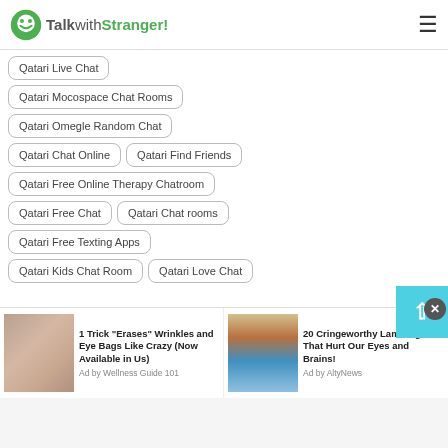TalkwithStranger!
Qatari Live Chat
Qatari Mocospace Chat Rooms
Qatari Omegle Random Chat
Qatari Chat Online
Qatari Find Friends
Qatari Free Online Therapy Chatroom
Qatari Free Chat
Qatari Chat rooms
Qatari Free Texting Apps
Qatari Kids Chat Room
Qatari Love Chat
[Figure (photo): Advertisement: wrinkled skin close-up with text '1 Trick Erases Wrinkles and Eye Bags Like Crazy (Now Available in Us)' Ad by Wellness Guide 101]
[Figure (photo): Advertisement: Lamborghini sports car with text '20 Cringeworthy Lamborghinis That Hurt Our Eyes and Brains!' Ad by AltyNews]